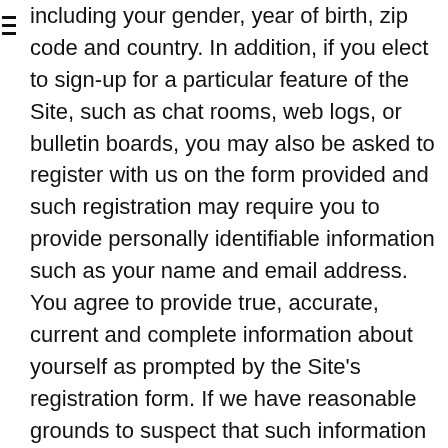including your gender, year of birth, zip code and country. In addition, if you elect to sign-up for a particular feature of the Site, such as chat rooms, web logs, or bulletin boards, you may also be asked to register with us on the form provided and such registration may require you to provide personally identifiable information such as your name and email address. You agree to provide true, accurate, current and complete information about yourself as prompted by the Site's registration form. If we have reasonable grounds to suspect that such information is untrue, inaccurate, or incomplete, we have the right to suspend or terminate your account and refuse any and all current or future use of the Site (or any portion thereof). Our use of any personally identifiable information you provide to us as part of